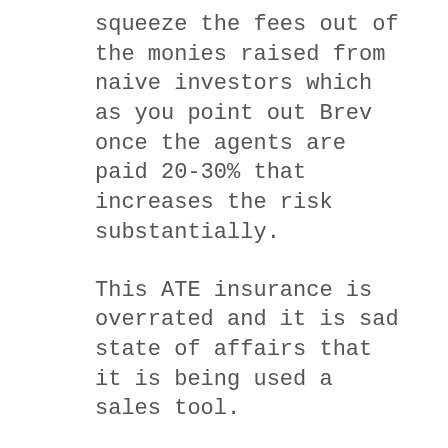squeeze the fees out of the monies raised from naive investors which as you point out Brev once the agents are paid 20-30% that increases the risk substantially.
This ATE insurance is overrated and it is sad state of affairs that it is being used a sales tool.
If these cases were so easy to win why don't the likes of Roger Allansons and Andy Lynch put their own legal firm's monies into it? instead of raising debt capital at a cost of 20-30% to brokers, which is insane! Furthermore by the time Andy and his fellow partners take their slices, then it is most likely a significant chunk of the original capital is eaten up before any actual real work is done.